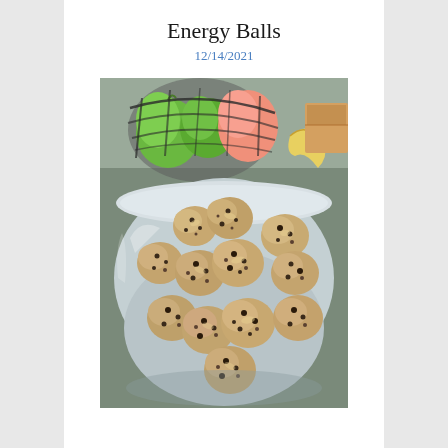Energy Balls
12/14/2021
[Figure (photo): A plastic container filled with oat and chocolate chip energy balls, with a fruit basket containing green apples and a peach in the background, along with a banana on the right side, on a kitchen counter.]